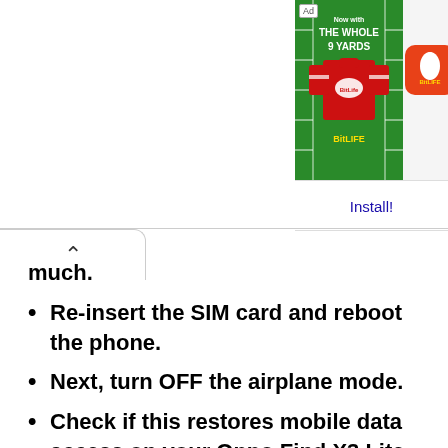[Figure (screenshot): Advertisement banner for BitLife app - The Whole 9 Yards, showing a football jersey on green background with BitLife logo and Install button]
much.
Re-insert the SIM card and reboot the phone.
Next, turn OFF the airplane mode.
Check if this restores mobile data access on your Oppo Find X3 Lite Or not.
Check for any intermittent issues
So, your phone has a SIM or two and you aren't